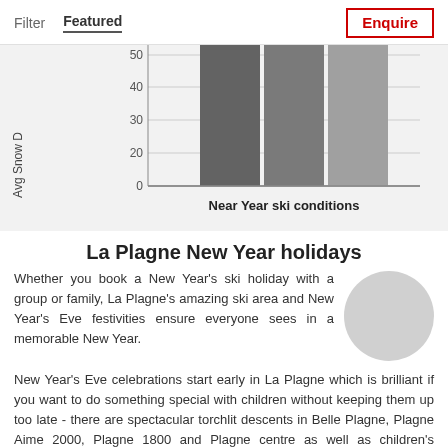Filter   Featured   Enquire
[Figure (bar-chart): Partial bar chart showing Near Year ski conditions with Avg Snow D on y-axis, bars reaching above 40]
La Plagne New Year holidays
Whether you book a New Year's ski holiday with a group or family, La Plagne's amazing ski area and New Year's Eve festivities ensure everyone sees in a memorable New Year.
New Year's Eve celebrations start early in La Plagne which is brilliant if you want to do something special with children without keeping them up too late - there are spectacular torchlit descents in Belle Plagne, Plagne Aime 2000, Plagne 1800 and Plagne centre as well as children's activities and entertainment including sledging competitions and face